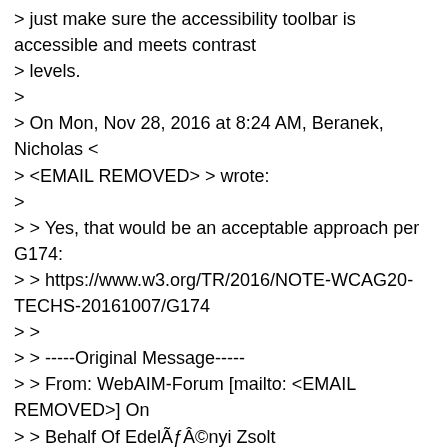> just make sure the accessibility toolbar is accessible and meets contrast
> levels.
>
> On Mon, Nov 28, 2016 at 8:24 AM, Beranek, Nicholas <
> <EMAIL REMOVED> > wrote:
>
> > Yes, that would be an acceptable approach per G174:
> > https://www.w3.org/TR/2016/NOTE-WCAG20-TECHS-20161007/G174
> >
> > -----Original Message-----
> > From: WebAIM-Forum [mailto: <EMAIL REMOVED>] On
> > Behalf Of EdelÃƒÂ©nyi Zsolt
> > Sent: Monday, November 28, 2016 7:09 AM
> > To: WebAIM Discussion List < <EMAIL